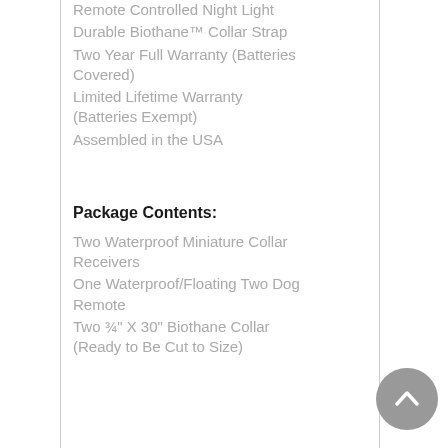Remote Controlled Night Light
Durable Biothane™ Collar Strap
Two Year Full Warranty (Batteries Covered)
Limited Lifetime Warranty (Batteries Exempt)
Assembled in the USA
Package Contents:
Two Waterproof Miniature Collar Receivers
One Waterproof/Floating Two Dog Remote
Two ¾" X 30" Biothane Collar (Ready to Be Cut to Size)